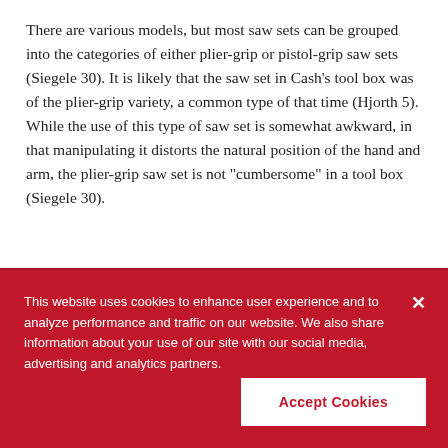There are various models, but most saw sets can be grouped into the categories of either plier-grip or pistol-grip saw sets (Siegele 30). It is likely that the saw set in Cash's tool box was of the plier-grip variety, a common type of that time (Hjorth 5). While the use of this type of saw set is somewhat awkward, in that manipulating it distorts the natural position of the hand and arm, the plier-grip saw set is not "cumbersome" in a tool box (Siegele 30).
This website uses cookies to enhance user experience and to analyze performance and traffic on our website. We also share information about your use of our site with our social media, advertising and analytics partners.
Accept Cookies